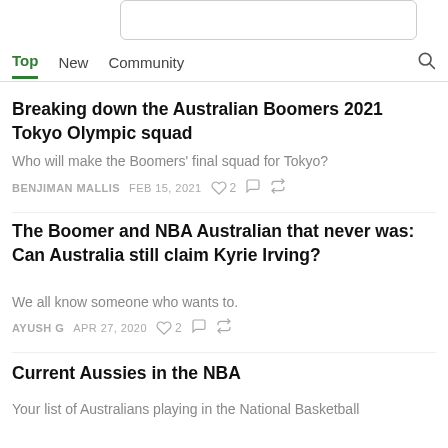Top  New  Community
Breaking down the Australian Boomers 2021 Tokyo Olympic squad
Who will make the Boomers' final squad for Tokyo?
BENJIMAN MALLIS  FEB 15, 2021  ♡2
The Boomer and NBA Australian that never was: Can Australia still claim Kyrie Irving?
We all know someone who wants to.
AYUSH G  APR 27, 2020  ♡2
Current Aussies in the NBA
Your list of Australians playing in the National Basketball